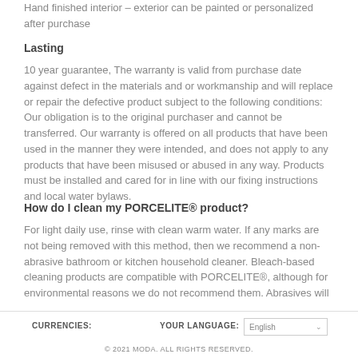Hand finished interior – exterior can be painted or personalized after purchase
Lasting
10 year guarantee, The warranty is valid from purchase date against defect in the materials and or workmanship and will replace or repair the defective product subject to the following conditions: Our obligation is to the original purchaser and cannot be transferred. Our warranty is offered on all products that have been used in the manner they were intended, and does not apply to any products that have been misused or abused in any way. Products must be installed and cared for in line with our fixing instructions and local water bylaws.
How do I clean my PORCELITE® product?
For light daily use, rinse with clean warm water. If any marks are not being removed with this method, then we recommend a non-abrasive bathroom or kitchen household cleaner. Bleach-based cleaning products are compatible with PORCELITE®, although for environmental reasons we do not recommend them. Abrasives will
CURRENCIES:    YOUR LANGUAGE: English    © 2021 MODA. ALL RIGHTS RESERVED.